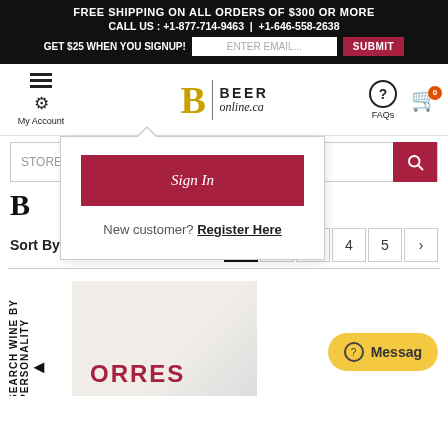FREE SHIPPING ON ALL ORDERS OF $300 OR MORE
CALL US : +1-877-714-9463 | +1-646-558-2638
GET $25 WHEN YOU SIGNUP!
[Figure (screenshot): BeerOnline.ca website navigation with My Account, logo, FAQs, and cart icons]
[Figure (screenshot): Sign In dropdown popup with Sign In button and New customer Register Here link]
Sort By Price 1 2 3 4 5 >
[Figure (photo): Partial wine product image with rotated text SEARCH WINE BY PERSONALITY and Message button]